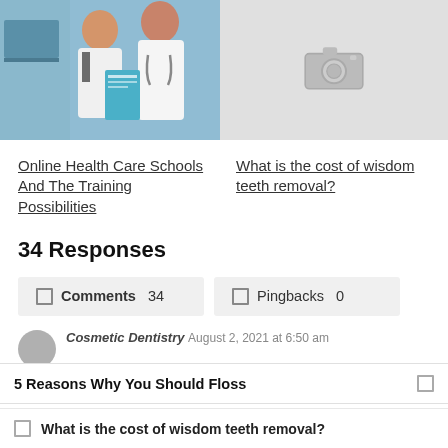[Figure (photo): Two medical professionals in white coats with stethoscopes looking at a blue folder/clipboard in front of a computer screen.]
[Figure (other): Gray placeholder box with camera icon.]
Online Health Care Schools And The Training Possibilities
What is the cost of wisdom teeth removal?
34 Responses
Comments 34   Pingbacks 0
Cosmetic Dentistry   August 2, 2021 at 6:50 am
5 Reasons Why You Should Floss
What is the cost of wisdom teeth removal?